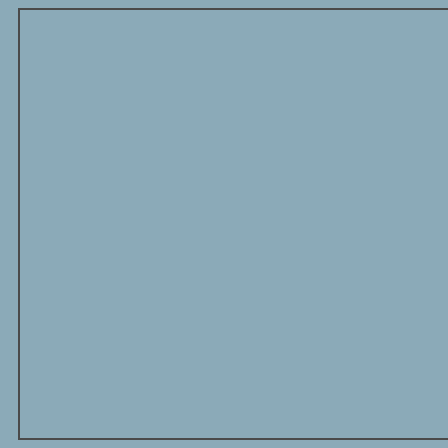[Figure (other): Large light blue-gray rectangular panel on the left side of the page with a dark border]
reebok outlet
ugg boots
louboutin
ray ban
ugg
louboutin
converse all stars
christian louboutin
chi hair
nike huarache
michael kors outlet
timberland pas cher
free running
air max 90
nike huarache
rayban
instyler
nike mercurial
the north face
converse shoes
kobe bryant shoes
softball bats
lebron james shoes
true religion
tods shoes
longchamp outlet
2018.1.16chenlixiang